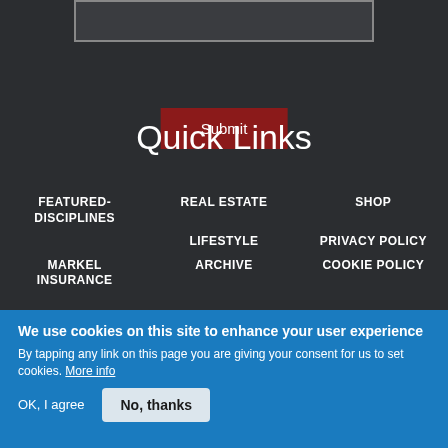[Figure (screenshot): Dark background section with an input box and a dark red Submit button]
Quick Links
FEATURED-DISCIPLINES
REAL ESTATE
SHOP
LIFESTYLE
PRIVACY POLICY
MARKEL INSURANCE
ARCHIVE
COOKIE POLICY
We use cookies on this site to enhance your user experience
By tapping any link on this page you are giving your consent for us to set cookies. More info
OK, I agree
No, thanks